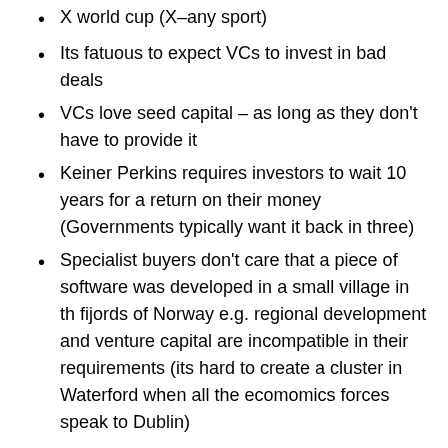X world cup (X–any sport)
Its fatuous to expect VCs to invest in bad deals
VCs love seed capital – as long as they don't have to provide it
Keiner Perkins requires investors to wait 10 years for a return on their money (Governments typically want it back in three)
Specialist buyers don't care that a piece of software was developed in a small village in th fijords of Norway e.g. regional development and venture capital are incompatible in their requirements (its hard to create a cluster in Waterford when all the ecomomics forces speak to Dublin)
He echoed the comments of many other speakers about the economies of scale not existing in Ireland.